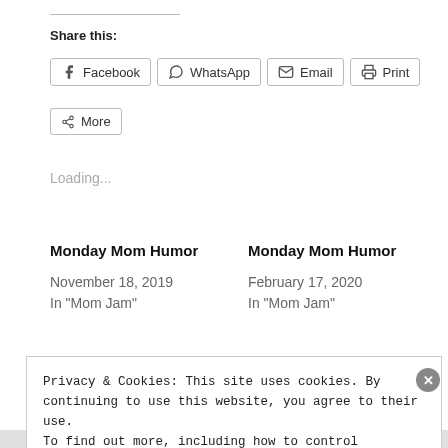Share this:
Facebook  WhatsApp  Email  Print  More
Loading...
Monday Mom Humor
November 18, 2019
In "Mom Jam"
Monday Mom Humor
February 17, 2020
In "Mom Jam"
Privacy & Cookies: This site uses cookies. By continuing to use this website, you agree to their use.
To find out more, including how to control cookies, see here: Cookie Policy
Close and accept